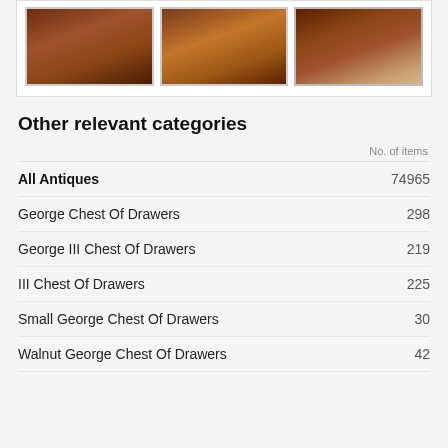[Figure (photo): Three antique mahogany chests of drawers shown in a row of thumbnail photos]
Other relevant categories
| Category | No. of items |
| --- | --- |
| All Antiques | 74965 |
| George Chest Of Drawers | 298 |
| George III Chest Of Drawers | 219 |
| III Chest Of Drawers | 225 |
| Small George Chest Of Drawers | 30 |
| Walnut George Chest Of Drawers | 42 |